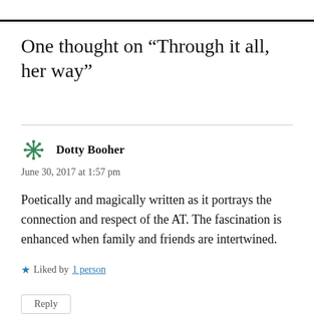One thought on “Through it all, her way”
Dotty Booher
June 30, 2017 at 1:57 pm
Poetically and magically written as it portrays the connection and respect of the AT. The fascination is enhanced when family and friends are intertwined.
★ Liked by 1 person
Reply